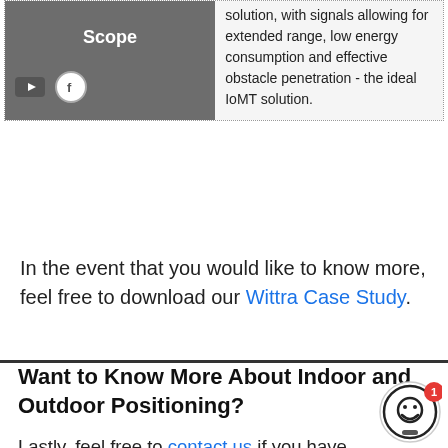| Scope | Description |
| --- | --- |
| Scope | solution, with signals allowing for extended range, low energy consumption and effective obstacle penetration - the ideal IoMT solution. |
In the event that you would like to know more, feel free to download our Wittra Case Study.
Want to Know More About Indoor and Outdoor Positioning?
Lastly, feel free to contact us if you have any questions regarding our indoor and outdoor positioning solution. Also, get in touch if you have any questions about other topics such as mesh networks, 6LoWPAN tech, routers, etc.